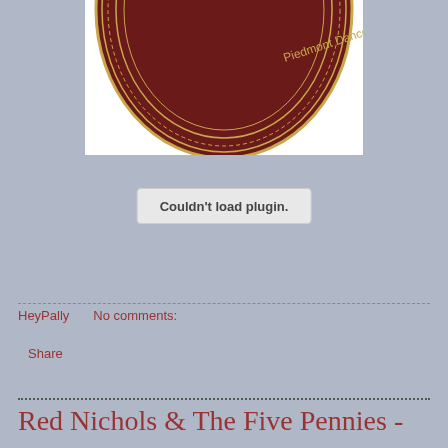[Figure (photo): A vinyl record label showing 'Piedmont Dance Orchestra' text in gold on a dark red/maroon background with decorative gold border details. Only the top portion of the record is visible.]
Couldn't load plugin.
HeyPally    No comments:
Share
Red Nichols & The Five Pennies -